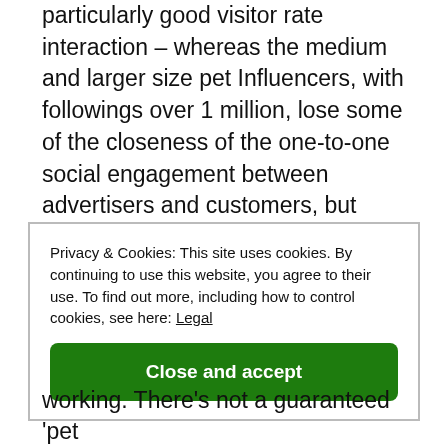particularly good visitor rate interaction – whereas the medium and larger size pet Influencers, with followings over 1 million, lose some of the closeness of the one-to-one social engagement between advertisers and customers, but provide celebrity style endorsements where hiring these pet models cost considerably more.
Privacy & Cookies: This site uses cookies. By continuing to use this website, you agree to their use. To find out more, including how to control cookies, see here: Legal
Close and accept
working. There's not a guaranteed 'pet